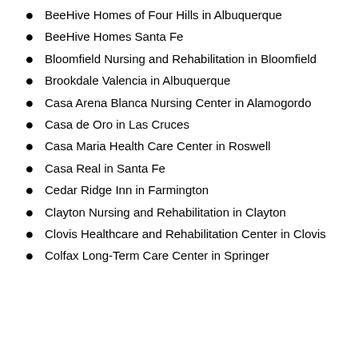BeeHive Homes of Four Hills in Albuquerque
BeeHive Homes Santa Fe
Bloomfield Nursing and Rehabilitation in Bloomfield
Brookdale Valencia in Albuquerque
Casa Arena Blanca Nursing Center in Alamogordo
Casa de Oro in Las Cruces
Casa Maria Health Care Center in Roswell
Casa Real in Santa Fe
Cedar Ridge Inn in Farmington
Clayton Nursing and Rehabilitation in Clayton
Clovis Healthcare and Rehabilitation Center in Clovis
Colfax Long-Term Care Center in Springer